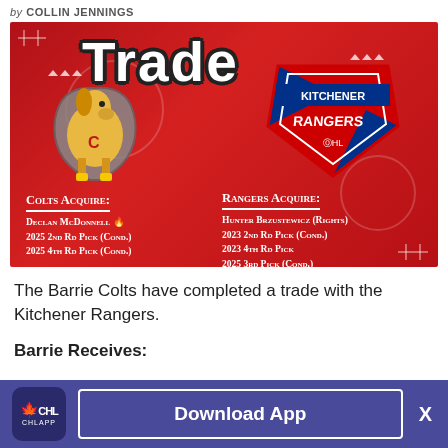by COLLIN JENNINGS
[Figure (infographic): Trade graphic showing Barrie Colts vs Kitchener Rangers trade. Red background. Colts Acquire: Declan McDonnell, 2025 2nd Rd Pick (Cond.), 2025 4th Rd Pick (Cond.). Rangers Acquire: Hunter Brzustewicz (Rights), 2023 2nd Rd Pick (Cond.), 2023 4th Rd Pick, 2025 3rd Pick (Cond.)]
The Barrie Colts have completed a trade with the Kitchener Rangers.
Barrie Receives:
[Figure (infographic): Bottom app download banner: CHL App icon, Download App button, X close button]